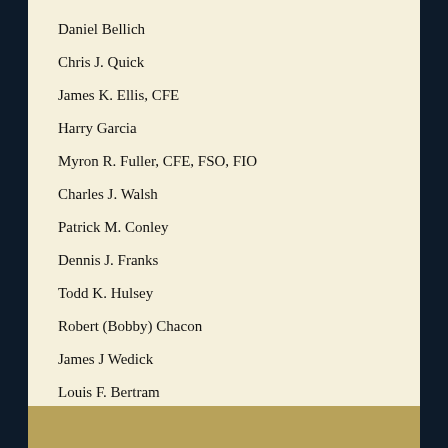Daniel Bellich
Chris J. Quick
James K. Ellis, CFE
Harry Garcia
Myron R. Fuller, CFE, FSO, FIO
Charles J. Walsh
Patrick M. Conley
Dennis J. Franks
Todd K. Hulsey
Robert (Bobby) Chacon
James J Wedick
Louis F. Bertram
Thomas J Baker